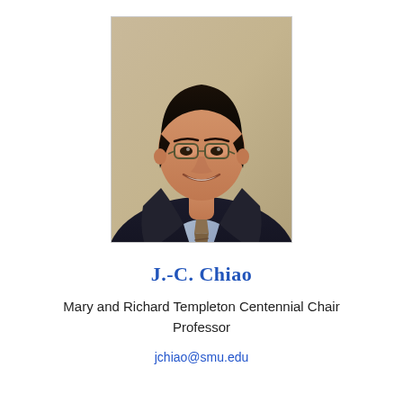[Figure (photo): Professional headshot of J.-C. Chiao, an Asian man wearing glasses, a dark suit, and a striped tie, smiling, with a neutral beige background.]
J.-C. Chiao
Mary and Richard Templeton Centennial Chair Professor
jchiao@smu.edu